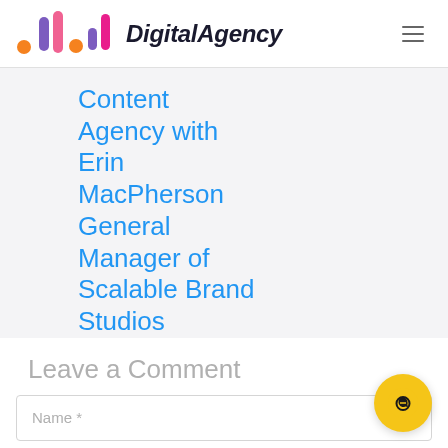DigitalAgency
Content Agency with Erin MacPherson General Manager of Scalable Brand Studios
MAY 14, 2021
Leave a Comment
Name *